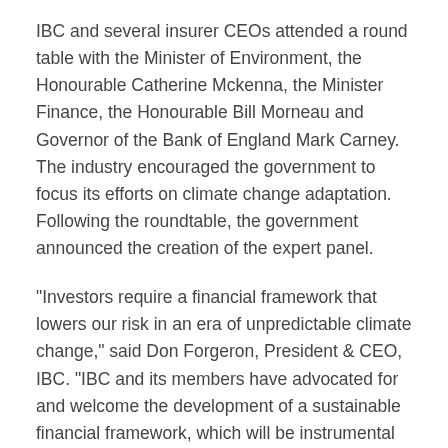IBC and several insurer CEOs attended a round table with the Minister of Environment, the Honourable Catherine Mckenna, the Minister Finance, the Honourable Bill Morneau and Governor of the Bank of England Mark Carney. The industry encouraged the government to focus its efforts on climate change adaptation. Following the roundtable, the government announced the creation of the expert panel.
"Investors require a financial framework that lowers our risk in an era of unpredictable climate change," said Don Forgeron, President & CEO, IBC. "IBC and its members have advocated for and welcome the development of a sustainable financial framework, which will be instrumental in transitioning Canada to a low carbon economy."
About Insurance Bureau of Canada